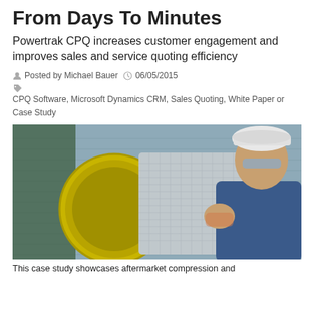From Days To Minutes
Powertrak CPQ increases customer engagement and improves sales and service quoting efficiency
Posted by Michael Bauer  06/05/2015  CPQ Software, Microsoft Dynamics CRM, Sales Quoting, White Paper or Case Study
[Figure (photo): Engineer wearing a white hard hat and safety glasses examining industrial equipment — a large yellow fan/filter housing — in what appears to be a factory or industrial facility setting.]
This case study showcases aftermarket compression and